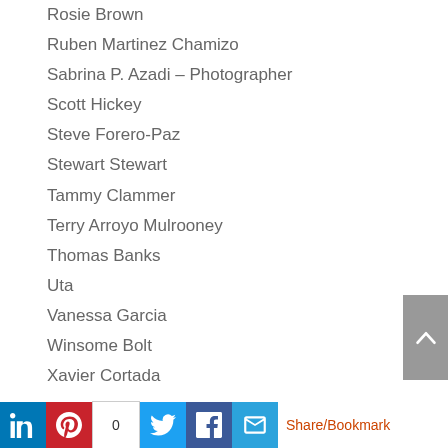Rosie Brown
Ruben Martinez Chamizo
Sabrina P. Azadi – Photographer
Scott Hickey
Steve Forero-Paz
Stewart Stewart
Tammy Clammer
Terry Arroyo Mulrooney
Thomas Banks
Uta
Vanessa Garcia
Winsome Bolt
Xavier Cortada
VOCALISTS
Abdiel Vivancos
Angela Fischetti
Brazilian Voices choir